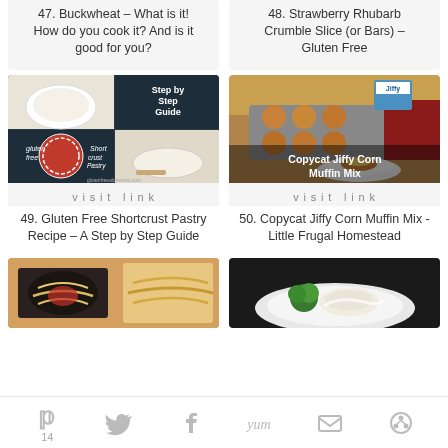47. Buckwheat – What is it! How do you cook it? And is it good for you?
48. Strawberry Rhubarb Crumble Slice (or Bars) – Gluten Free
[Figure (photo): Collage of gluten free shortcrust pastry recipe steps showing dough, rolling pin, and finished tart]
visit link
49. Gluten Free Shortcrust Pastry Recipe – A Step by Step Guide
[Figure (photo): Jiffy corn muffin mix with baked corn muffins on a plate, text overlay reading Copycat Jiffy Corn Muffin Mix]
visit link
50. Copycat Jiffy Corn Muffin Mix - Little Frugal Homestead
[Figure (photo): Pasta dish with tomato sauce]
[Figure (photo): Plate with broccoli and white sauce]
14